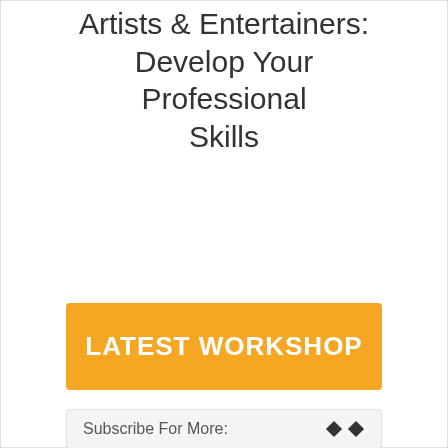Artists & Entertainers: Develop Your Professional Skills
LATEST WORKSHOP
Subscribe For More: